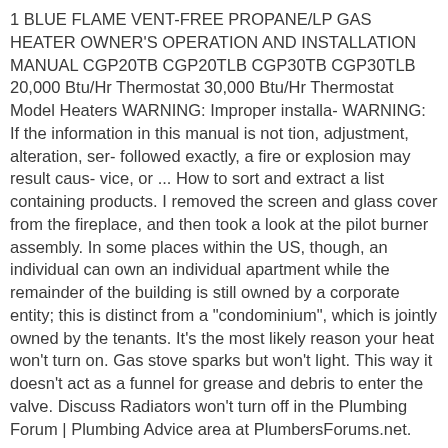1 BLUE FLAME VENT-FREE PROPANE/LP GAS HEATER OWNER'S OPERATION AND INSTALLATION MANUAL CGP20TB CGP20TLB CGP30TB CGP30TLB 20,000 Btu/Hr Thermostat 30,000 Btu/Hr Thermostat Model Heaters WARNING: Improper installa- WARNING: If the information in this manual is not tion, adjustment, alteration, ser- followed exactly, a fire or explosion may result caus- vice, or ... How to sort and extract a list containing products. I removed the screen and glass cover from the fireplace, and then took a look at the pilot burner assembly. In some places within the US, though, an individual can own an individual apartment while the remainder of the building is still owned by a corporate entity; this is distinct from a "condominium", which is jointly owned by the tenants. It's the most likely reason your heat won't turn on. Gas stove sparks but won't light. This way it doesn't act as a funnel for grease and debris to enter the valve. Discuss Radiators won't turn off in the Plumbing Forum | Plumbing Advice area at PlumbersForums.net. ($30-$40). purchased a replacement valve